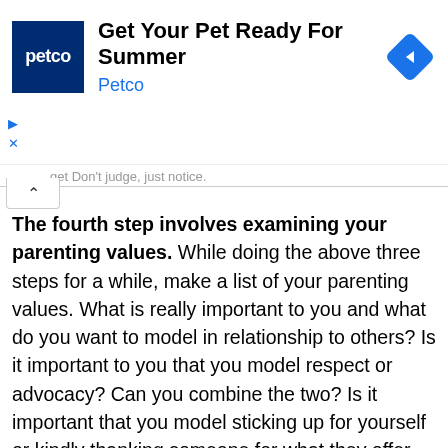[Figure (other): Petco advertisement banner: Petco logo (dark blue square with 'petco' text), headline 'Get Your Pet Ready For Summer', subtext 'Petco' in blue, and a blue diamond-shaped navigation icon on the right. Small play and close (X) controls on the left.]
get Don't judge, just notice.
The fourth step involves examining your parenting values. While doing the above three steps for a while, make a list of your parenting values. What is really important to you and what do you want to model in relationship to others? Is it important to you that you model respect or advocacy? Can you combine the two? Is it important that you model sticking up for yourself or kindly thanking someone for what they offer while knowing you won't use a bit of it? Can you combine the two? Is it important that you offer alternatives to parent bashing or is it important that you join the crowd? Can you choose a mutually respectful option for you, your family, and the world? Make a pact with yourself to explore options of respectfully communicating with those who you feel judged by if that is important to